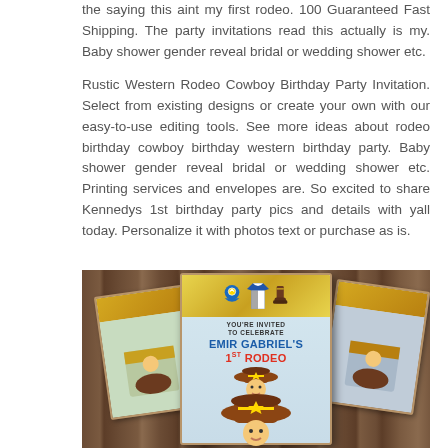the saying this aint my first rodeo. 100 Guaranteed Fast Shipping. The party invitations read this actually is my. Baby shower gender reveal bridal or wedding shower etc.
Rustic Western Rodeo Cowboy Birthday Party Invitation. Select from existing designs or create your own with our easy-to-use editing tools. See more ideas about rodeo birthday cowboy birthday western birthday party. Baby shower gender reveal bridal or wedding shower etc. Printing services and envelopes are. So excited to share Kennedys 1st birthday party pics and details with yall today. Personalize it with photos text or purchase as is.
[Figure (photo): Photo of rustic western rodeo cowboy birthday party invitations laid on a wood plank background. The central invite reads 'YOU'RE INVITED TO CELEBRATE EMIR GABRIEL'S 1ST RODEO' with cowboy-themed clipart including a baby in a cowboy hat, bib, western shirt, and boots. Additional invitation cards are arranged behind/beside the main one at angles.]